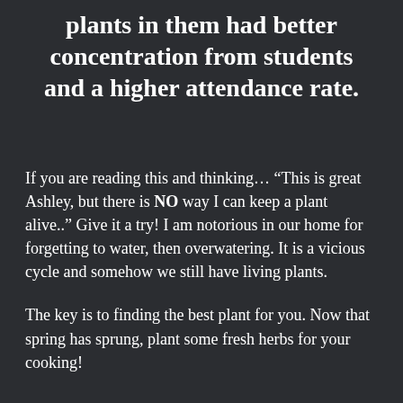plants in them had better concentration from students and a higher attendance rate.
If you are reading this and thinking… “This is great Ashley, but there is NO way I can keep a plant alive..” Give it a try! I am notorious in our home for forgetting to water, then overwatering. It is a vicious cycle and somehow we still have living plants.
The key is to finding the best plant for you. Now that spring has sprung, plant some fresh herbs for your cooking!